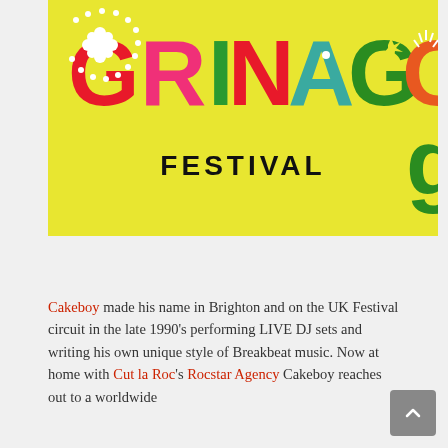[Figure (logo): Grinagog Festival logo on bright yellow background. Colorful decorative lettering spelling GRINAGOG in red, pink, green, and teal with illustrated elements inside each letter. Below in black text: FESTIVAL.]
Cakeboy made his name in Brighton and on the UK Festival circuit in the late 1990's performing LIVE DJ sets and writing his own unique style of Breakbeat music. Now at home with Cut la Roc's Rocstar Agency Cakeboy reaches out to a worldwide